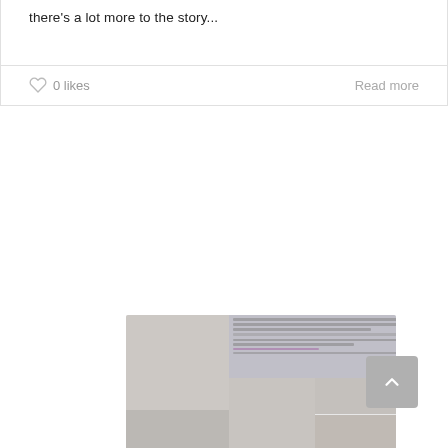there's a lot more to the story...
0 likes
Read more
[Figure (photo): Partially visible magazine-style article thumbnail showing text block and multiple portrait photos of women]
[Figure (other): Scroll-to-top button with upward chevron arrow on grey background]